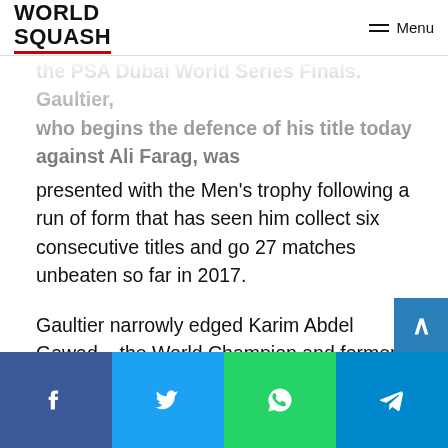WORLD SQUASH | Menu
the PSA Dubai World Series Finals. Gaultier, who begins the defence of his title today against Ali Farag, was presented with the Men's trophy following a run of form that has seen him collect six consecutive titles and go 27 matches unbeaten so far in 2017.
Gaultier narrowly edged Karim Abdel Gawad – the World Champion and former World No.1 – to the award which was chosen by the PSA Awards Committee, a group consisting of selected influential former players, members of the media, tournament promoters and PSA Board representatives and a social media vote.
Serme was honoured with the Women's Award after a